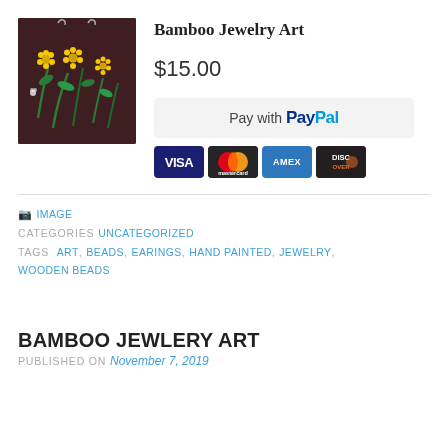[Figure (photo): Product photo of painted bamboo earrings with yellow flowers on dark background, hanging on a ceramic stand]
Bamboo Jewelry Art
$15.00
[Figure (screenshot): Pay with PayPal button]
[Figure (screenshot): Credit card icons: VISA, Mastercard, AMEX, DISCOVER]
IMAGE
CATEGORIES UNCATEGORIZED
TAGS ART, BEADS, EARINGS, HAND PAINTED, JEWELRY, WOODEN BEADS
BAMBOO JEWLERY ART
PUBLISHED ON November 7, 2019